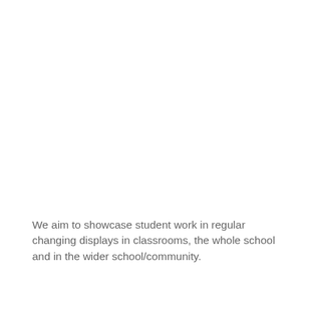We aim to showcase student work in regular changing displays in classrooms, the whole school and in the wider school/community.